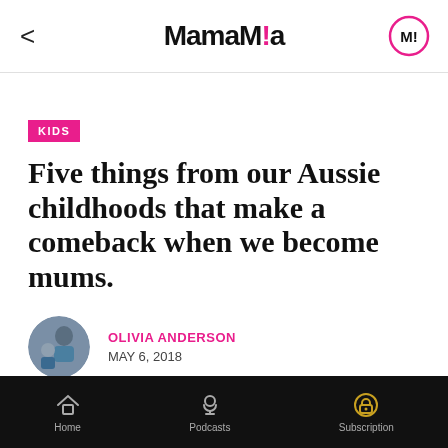MamaMia
KIDS
Five things from our Aussie childhoods that make a comeback when we become mums.
OLIVIA ANDERSON
MAY 6, 2018
Home  Podcasts  Subscription